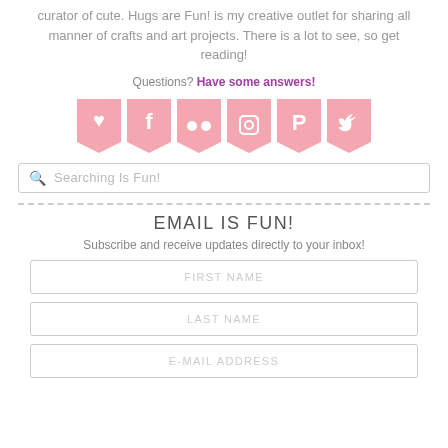curator of cute. Hugs are Fun! is my creative outlet for sharing all manner of crafts and art projects. There is a lot to see, so get reading!
Questions? Have some answers!
[Figure (infographic): Six pink pennant/banner-shaped social media icons: heart/Bloglovin, Facebook, Flickr, Instagram, Pinterest, Twitter]
Searching Is Fun! (search box placeholder)
EMAIL IS FUN!
Subscribe and receive updates directly to your inbox!
FIRST NAME
LAST NAME
E-MAIL ADDRESS